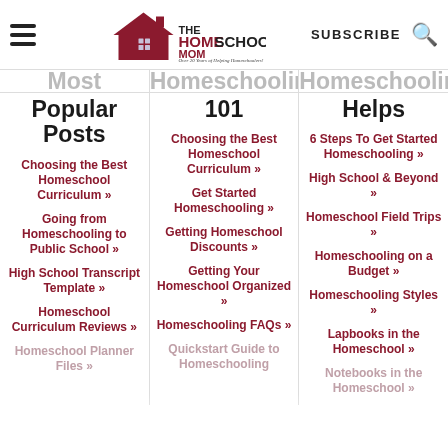THE HOMESCHOOL MOM — Over 20 Years of Helping Homeschoolers! | SUBSCRIBE
Popular Posts
Homeschooling 101
Homeschooling Helps
Choosing the Best Homeschool Curriculum »
Going from Homeschooling to Public School »
High School Transcript Template »
Homeschool Curriculum Reviews »
Homeschool Planner Files »
Choosing the Best Homeschool Curriculum »
Get Started Homeschooling »
Getting Homeschool Discounts »
Getting Your Homeschool Organized »
Homeschooling FAQs »
Quickstart Guide to Homeschooling
6 Steps To Get Started Homeschooling »
High School & Beyond »
Homeschool Field Trips »
Homeschooling on a Budget »
Homeschooling Styles »
Lapbooks in the Homeschool »
Notebooks in the Homeschool »